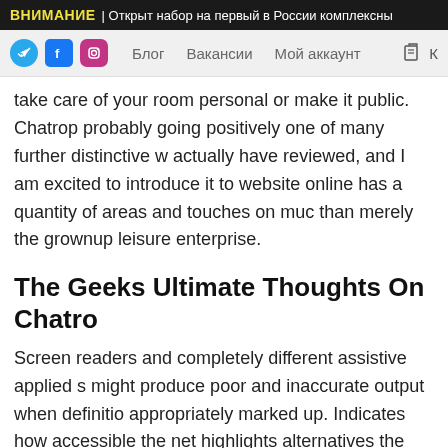ВНИМАНИЕ | Открыт набор на первый в России комплексны
Блог  Вакансии  Мой аккаунт
take care of your room personal or make it public. Chatrop probably going positively one of many further distinctive w actually have reviewed, and I am excited to introduce it to website online has a quantity of areas and touches on muc than merely the grownup leisure enterprise.
The Geeks Ultimate Thoughts On Chatro
Screen readers and completely different assistive applied s might produce poor and inaccurate output when definitio appropriately marked up. Indicates how accessible the net highlights alternatives the place the page can be made ex accessible to prospects of chatropolis.com. This consists of about numerous web page attributes that could presuma optimized. There often aren't 1000's of people on-line reg